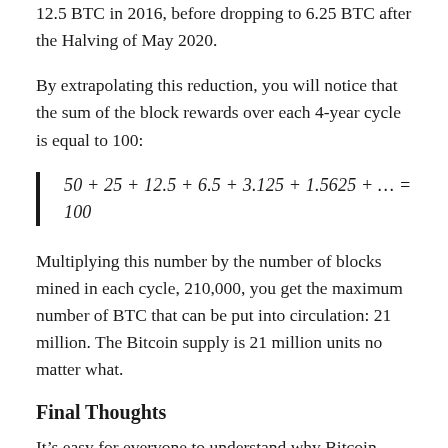12.5 BTC in 2016, before dropping to 6.25 BTC after the Halving of May 2020.
By extrapolating this reduction, you will notice that the sum of the block rewards over each 4-year cycle is equal to 100:
Multiplying this number by the number of blocks mined in each cycle, 210,000, you get the maximum number of BTC that can be put into circulation: 21 million. The Bitcoin supply is 21 million units no matter what.
Final Thoughts
It’s easy for everyone to understand why Bitcoin supply is hard-capped. Satoshi Nakamoto made this choice to